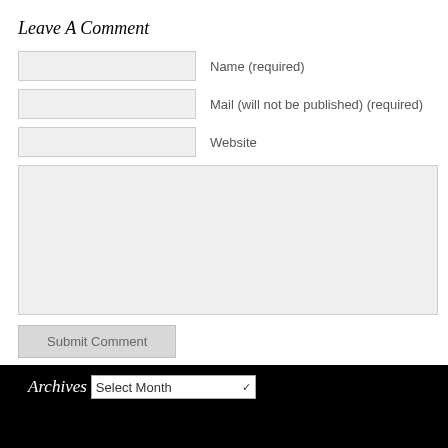Leave A Comment
Name (required)
Mail (will not be published) (required)
Website
Submit Comment
Archives
Select Month